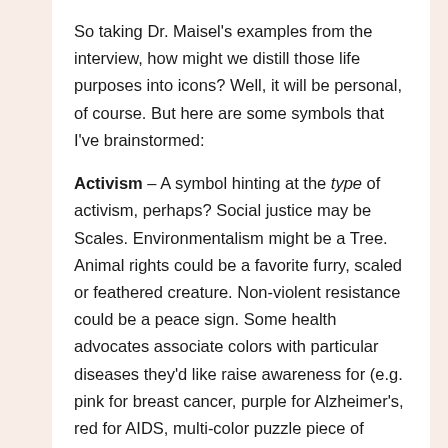So taking Dr. Maisel's examples from the interview, how might we distill those life purposes into icons? Well, it will be personal, of course. But here are some symbols that I've brainstormed:
Activism – A symbol hinting at the type of activism, perhaps? Social justice may be Scales. Environmentalism might be a Tree. Animal rights could be a favorite furry, scaled or feathered creature. Non-violent resistance could be a peace sign. Some health advocates associate colors with particular diseases they'd like raise awareness for (e.g. pink for breast cancer, purple for Alzheimer's, red for AIDS, multi-color puzzle piece of Autism, etc.).